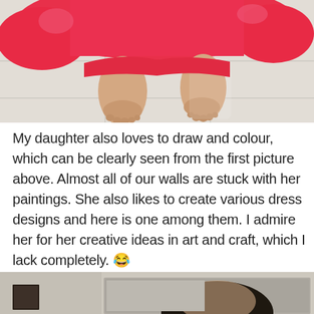[Figure (photo): Photo of a child's bare feet standing on tile floor wearing a red/pink outfit or fabric draped around them, viewed from above]
My daughter also loves to draw and colour, which can be clearly seen from the first picture above. Almost all of our walls are stuck with her paintings. She also likes to create various dress designs and here is one among them. I admire her for her creative ideas in art and craft, which I lack completely. 😂
[Figure (photo): Partial photo of a person (likely a young girl with dark hair) standing in front of a mirror on a beige/neutral colored wall, with a small dark framed picture visible on the left wall]